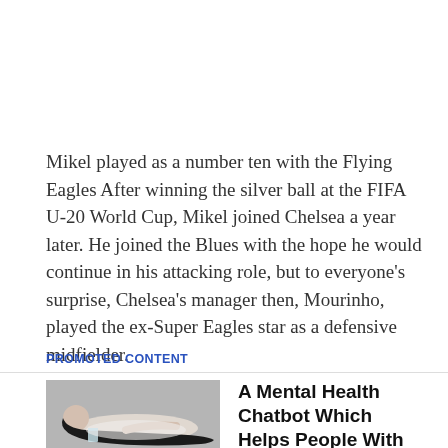Mikel played as a number ten with the Flying Eagles After winning the silver ball at the FIFA U-20 World Cup, Mikel joined Chelsea a year later. He joined the Blues with the hope he would continue in his attacking role, but to everyone's surprise, Chelsea's manager then, Mourinho, played the ex-Super Eagles star as a defensive midfielder.
PROMOTED CONTENT
[Figure (photo): Woman lying on floor with long dark hair, wearing white top, with a glass of water nearby, gray background.]
A Mental Health Chatbot Which Helps People With Depression